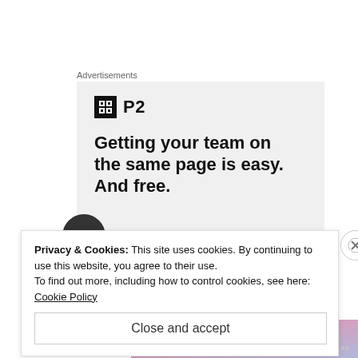Advertisements
[Figure (illustration): P2 advertisement banner on gray background with logo and headline: Getting your team on the same page is easy. And free.]
Privacy & Cookies: This site uses cookies. By continuing to use this website, you agree to their use.
To find out more, including how to control cookies, see here: Cookie Policy
Close and accept